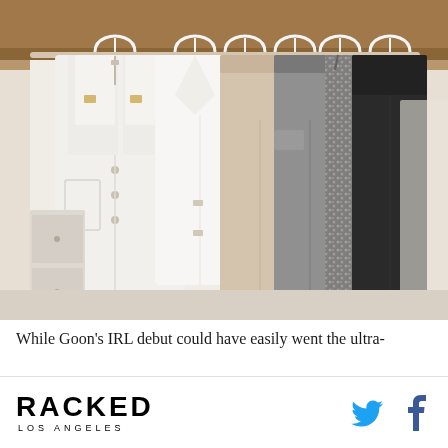[Figure (photo): A clothing rack with various garments hanging on white wooden hangers. Items include a white denim overall/jumpsuit on the left, a white blazer/vest, neutral-toned wide-leg trousers, gray trousers, a sparkly/embellished dress, and a black sleeveless dress on the right. Background shows a wooden shelving/storage area.]
While Goon's IRL debut could have easily went the ultra-
RACKED LOS ANGELES